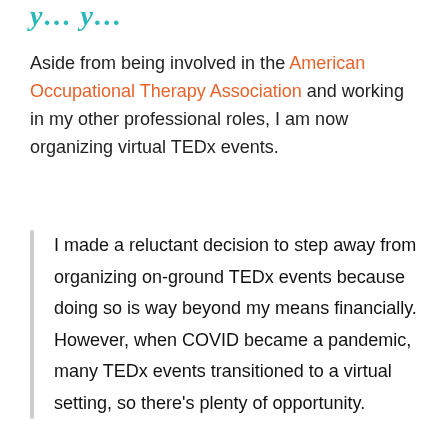y...y y...
Aside from being involved in the American Occupational Therapy Association and working in my other professional roles, I am now organizing virtual TEDx events.
I made a reluctant decision to step away from organizing on-ground TEDx events because doing so is way beyond my means financially. However, when COVID became a pandemic, many TEDx events transitioned to a virtual setting, so there's plenty of opportunity.